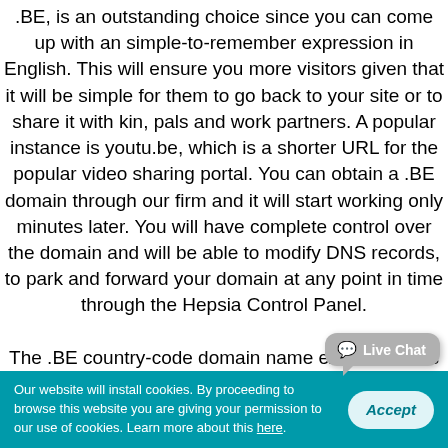.BE, is an outstanding choice since you can come up with an simple-to-remember expression in English. This will ensure you more visitors given that it will be simple for them to go back to your site or to share it with kin, pals and work partners. A popular instance is youtu.be, which is a shorter URL for the popular video sharing portal. You can obtain a .BE domain through our firm and it will start working only minutes later. You will have complete control over the domain and will be able to modify DNS records, to park and forward your domain at any point in time through the Hepsia Control Panel.

The .BE country-code domain name extension was brought into existence in 1989 and great numbers of .BE domains have been reserved since then by foreign people, not by Belgians, in view of the fact that there is no local presence rule for
Our website will install cookies. By proceeding to browse this website you are giving your permission to our use of cookies. Learn more about this here.